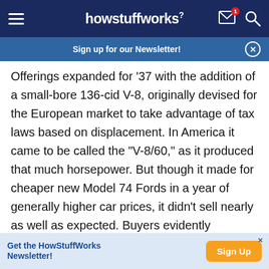howstuffworks
Sign up for our Newsletter!
Offerings expanded for '37 with the addition of a small-bore 136-cid V-8, originally devised for the European market to take advantage of tax laws based on displacement. In America it came to be called the "V-8/60," as it produced that much horsepower. But though it made for cheaper new Model 74 Fords in a year of generally higher car prices, it didn't sell nearly as well as expected. Buyers evidently preferred higher performance over lower retail cost. Economy was supposed to be a strong
Get the HowStuffWorks Newsletter!